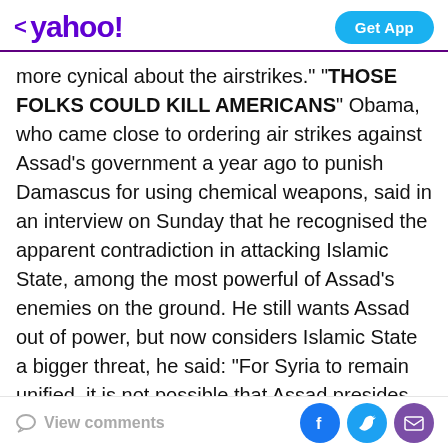< yahoo!  Get App
more cynical about the airstrikes." "THOSE FOLKS COULD KILL AMERICANS" Obama, who came close to ordering air strikes against Assad's government a year ago to punish Damascus for using chemical weapons, said in an interview on Sunday that he recognised the apparent contradiction in attacking Islamic State, among the most powerful of Assad's enemies on the ground. He still wants Assad out of power, but now considers Islamic State a bigger threat, he said: "For Syria to remain unified, it is not possible that Assad presides over that entire process. "On the other hand, in terms of immediate threats to the United States, ISIL, Khorasan Group. those folks could kill Americans." Obama said.
View comments  [Facebook] [Twitter] [Mail]